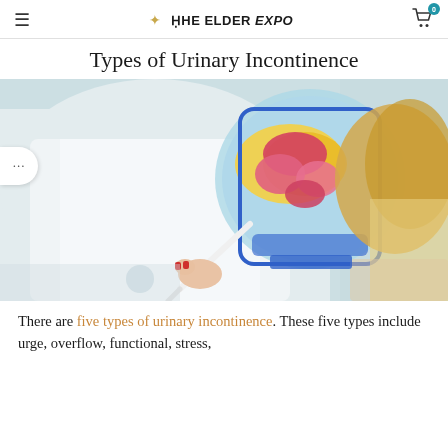≡  THE ELDER EXPO  🛒 0
Types of Urinary Incontinence
[Figure (photo): A medical professional in a white coat holds an anatomical model of the female pelvic floor and points to it with a pen, while a patient with long blonde hair sits across from her viewing the model.]
There are five types of urinary incontinence. These five types include urge, overflow, functional, stress,